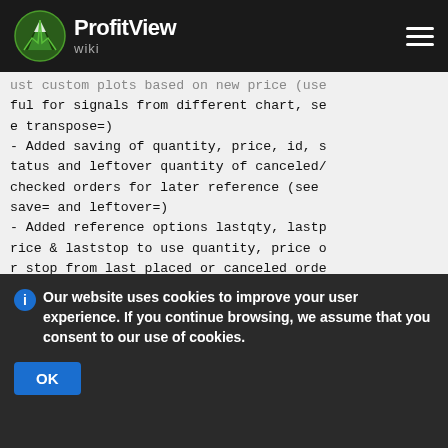ProfitView wiki
ust custom plots based on new price (useful for signals from different chart, see transpose=)
- Added saving of quantity, price, id, status and leftover quantity of canceled/checked orders for later reference (see save= and leftover=)
- Added reference options lastqty, lastprice & laststop to use quantity, price or stop from last placed or canceled order
- Added yield=possize option for normal
Our website uses cookies to improve your user experience. If you continue browsing, we assume that you consent to our use of cookies.
OK